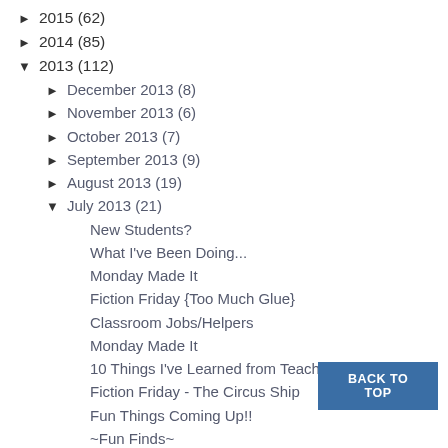► 2015 (62)
► 2014 (85)
▼ 2013 (112)
► December 2013 (8)
► November 2013 (6)
► October 2013 (7)
► September 2013 (9)
► August 2013 (19)
▼ July 2013 (21)
New Students?
What I've Been Doing...
Monday Made It
Fiction Friday {Too Much Glue}
Classroom Jobs/Helpers
Monday Made It
10 Things I've Learned from Teaching
Fiction Friday - The Circus Ship
Fun Things Coming Up!!
~Fun Finds~
Monday Made It!
Fiction Friday & Favorite Pins
Throwback Thursday {Science}
Wednesday Wisdom
Fiction Friday - ...